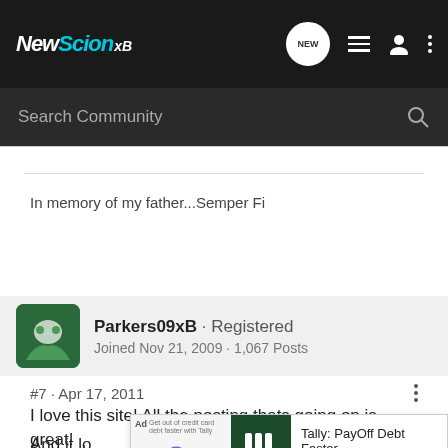NewScionxB
Search Community
In memory of my father...Semper Fi
Parkers09xB · Registered
Joined Nov 21, 2009 · 1,067 Posts
#7 · Apr 17, 2011
I love this site! All the posting thats going on is great!
And it lo... bit
longer lo...
[Figure (screenshot): Tally PayOff Debt Faster advertisement overlay with logo and download button]